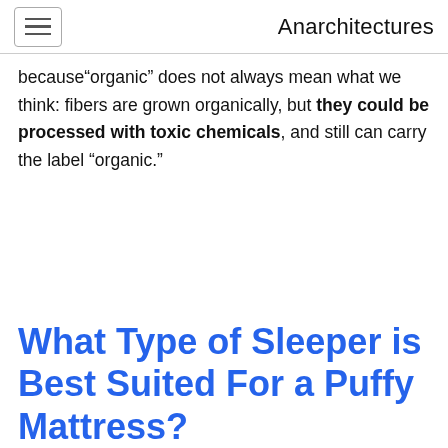Anarchitectures
because“organic” does not always mean what we think: fibers are grown organically, but they could be processed with toxic chemicals, and still can carry the label “organic.”
What Type of Sleeper is Best Suited For a Puffy Mattress?